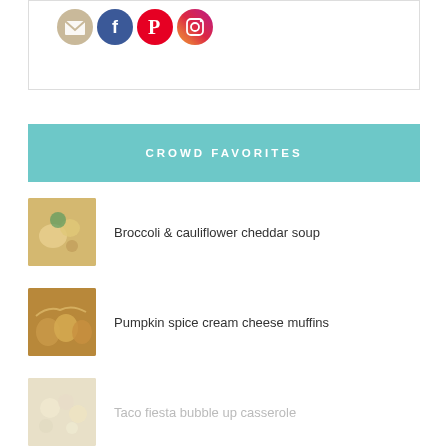[Figure (illustration): Social media icons: email (beige), Facebook (blue), Pinterest (red), Instagram (gradient)]
CROWD FAVORITES
Broccoli & cauliflower cheddar soup
Pumpkin spice cream cheese muffins
Taco fiesta bubble up casserole